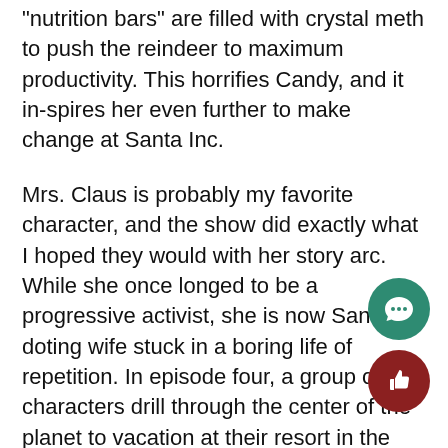"nutrition bars" are filled with crystal meth to push the reindeer to maximum productivity. This horrifies Candy, and it in-spires her even further to make change at Santa Inc.
Mrs. Claus is probably my favorite character, and the show did exactly what I hoped they would with her story arc. While she once longed to be a progressive activist, she is now Santa's doting wife stuck in a boring life of repetition. In episode four, a group of characters drill through the center of the planet to vacation at their resort in the South Pole. Mrs. Claus is stuck in dull conversations with her friends, so Candy's friends save her and decide it's time for a change of pace. The three become gal pals, and Mrs. Claus is finally able to let loose. One of the funniest parts of episode is the reveal of Mrs. Claus's first name, which I will not include to leave some mystery. Throughout the series, she becomes such a fun and wild character, and